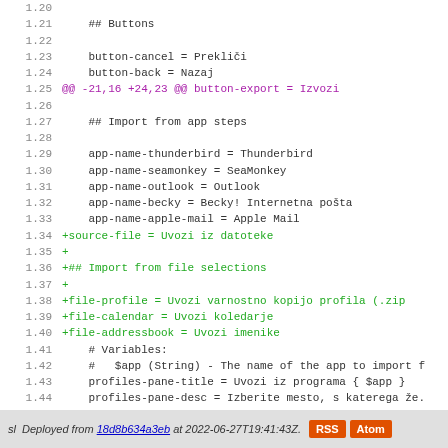[Figure (screenshot): Code diff viewer showing lines 1.20-1.48 of a localization file with line numbers, green added lines, and a purple diff header line.]
sl  Deployed from 18d8b634a3eb at 2022-06-27T19:41:43Z.  RSS  Atom